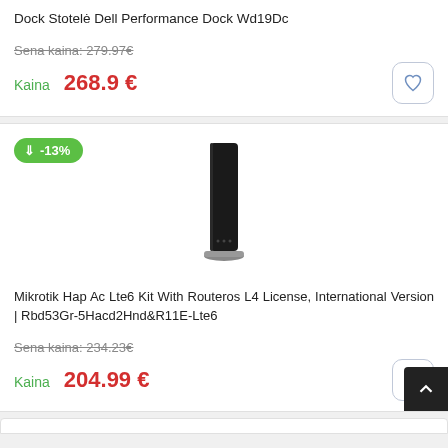Dock Stotelė Dell Performance Dock Wd19Dc
Sena kaina: 279.97€
Kaina  268.9 €
-13%
[Figure (photo): Mikrotik router/access point device standing vertically on a small base, black color]
Mikrotik Hap Ac Lte6 Kit With Routeros L4 License, International Version | Rbd53Gr-5Hacd2Hnd&R11E-Lte6
Sena kaina: 234.23€
Kaina  204.99 €